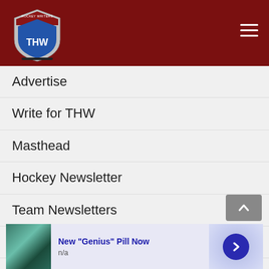[Figure (logo): THW hockey website logo - shield shape with THW text, dark red header bar with hamburger menu]
Advertise
Write for THW
Masthead
Hockey Newsletter
Team Newsletters
RSS Feeds
Privacy Statement
Contact Us
Writers’ Login
[Figure (screenshot): Advertisement banner: image on left, 'New "Genius" Pill Now' title in blue, 'n/a' subtitle, arrow button on right]